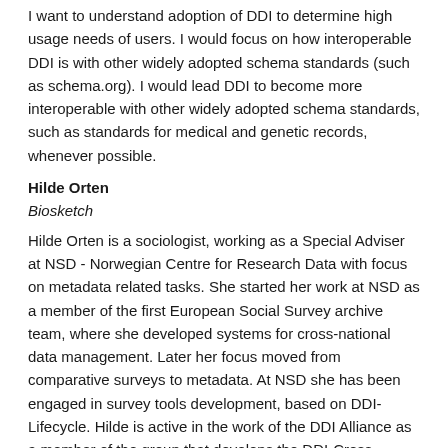I want to understand adoption of DDI to determine high usage needs of users. I would focus on how interoperable DDI is with other widely adopted schema standards (such as schema.org). I would lead DDI to become more interoperable with other widely adopted schema standards, such as standards for medical and genetic records, whenever possible.
Hilde Orten
Biosketch
Hilde Orten is a sociologist, working as a Special Adviser at NSD - Norwegian Centre for Research Data with focus on metadata related tasks. She started her work at NSD as a member of the first European Social Survey archive team, where she developed systems for cross-national data management. Later her focus moved from comparative surveys to metadata. At NSD she has been engaged in survey tools development, based on DDI-Lifecycle. Hilde is active in the work of the DDI Alliance as a member of the group that develops the DDI-Cross Domain Integration (DDI-CDI) specification, as well as controlled vocabularies development and DDI training. Hilde was a member of the DDI Scientific Board restructuring temporary working group.